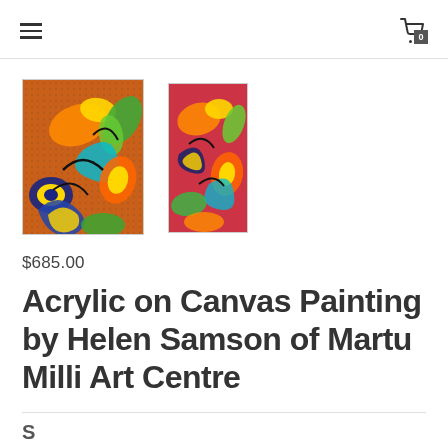≡   🛒 0
[Figure (photo): Colorful acrylic painting with swirling floral shapes in orange, yellow, blue, green on dotted background - large thumbnail]
[Figure (photo): Colorful acrylic painting with swirling floral shapes in pink, orange, green, yellow - smaller thumbnail]
$685.00
Acrylic on Canvas Painting by Helen Samson of Martu Milli Art Centre
S